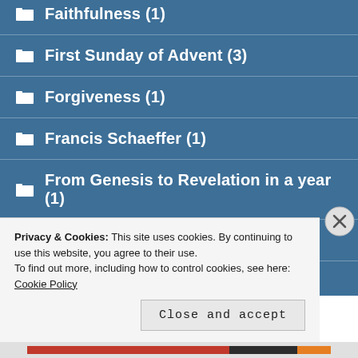Faithfulness (1)
First Sunday of Advent (3)
Forgiveness (1)
Francis Schaeffer (1)
From Genesis to Revelation in a year (1)
Galatians (81)
Garry Brotherston (1)
Privacy & Cookies: This site uses cookies. By continuing to use this website, you agree to their use.
To find out more, including how to control cookies, see here: Cookie Policy
Close and accept